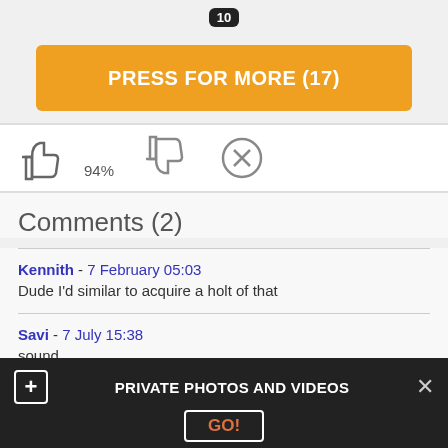[Figure (screenshot): Badge showing number 10 in black rounded rectangle]
PRESS FOR MORE (17)
[Figure (infographic): Thumbs up icon, thumbs down icon, and X (close) icon with 94% rating label below thumbs up]
Comments (2)
Kennith - 7 February 05:03
Dude I'd similar to acquire a holt of that
Savi - 7 July 15:38
sound
PRIVATE PHOTOS AND VIDEOS
GO!